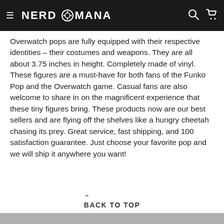NERD MANA
Overwatch pops are fully equipped with their respective identities – their costumes and weapons. They are all about 3.75 inches in height. Completely made of vinyl. These figures are a must-have for both fans of the Funko Pop and the Overwatch game. Casual fans are also welcome to share in on the magnificent experience that these tiny figures bring. These products now are our best sellers and are flying off the shelves like a hungry cheetah chasing its prey. Great service, fast shipping, and 100 satisfaction guarantee. Just choose your favorite pop and we will ship it anywhere you want!
BACK TO TOP